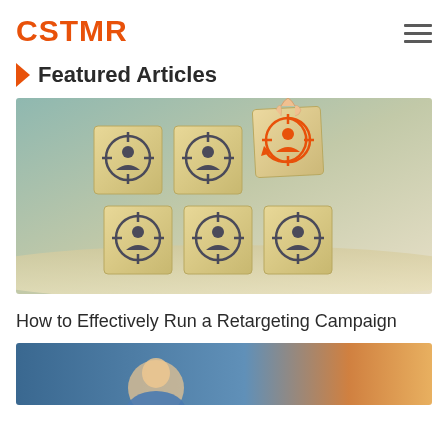CSTMR
Featured Articles
[Figure (photo): Six wooden blocks arranged in a 2x3 grid, each displaying a person icon inside a crosshair/target symbol. A hand is picking up the top-right block which has an orange-colored icon, suggesting retargeting or customer targeting concept.]
How to Effectively Run a Retargeting Campaign
[Figure (photo): Partial view of a person (appears stressed or thoughtful) with warm sunlight in the background.]